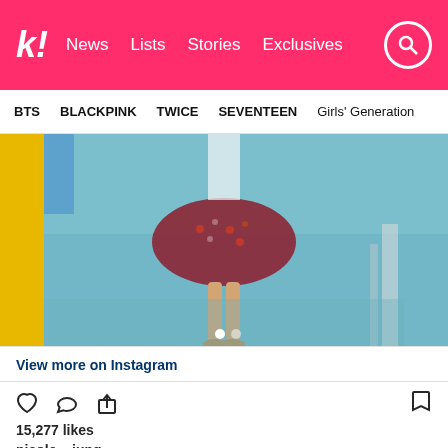k! News  Lists  Stories  Exclusives
BTS  BLACKPINK  TWICE  SEVENTEEN  Girls' Generation
[Figure (photo): Person standing in floral red dress on a wet teal/blue surface near a yellow pole, carousel with two dots]
View more on Instagram
15,277 likes
nicole__jung
여름이 여름이 여름...☺️
여름여름여름여름
#COLETIME#여름#여름여름여름
여름여름
view all 114 comments